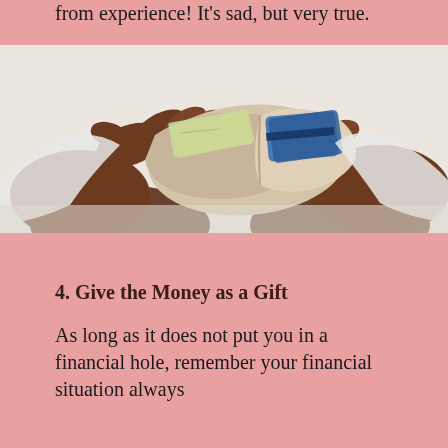from experience! It's sad, but very true.
[Figure (photo): Close-up photo of a person's dark-skinned hands opening a beige/cream leather wallet, with cards and cash visible inside, against a white background.]
4. Give the Money as a Gift
As long as it does not put you in a financial hole, remember your financial situation always